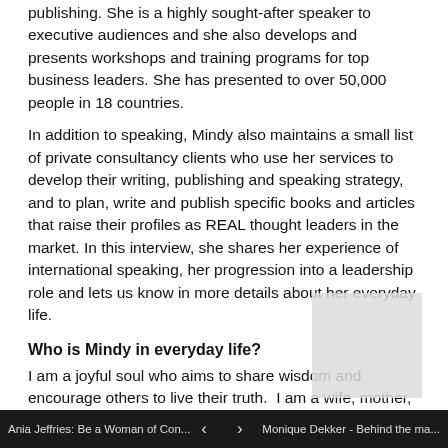publishing. She is a highly sought-after speaker to executive audiences and she also develops and presents workshops and training programs for top business leaders. She has presented to over 50,000 people in 18 countries.
In addition to speaking, Mindy also maintains a small list of private consultancy clients who use her services to develop their writing, publishing and speaking strategy, and to plan, write and publish specific books and articles that raise their profiles as REAL thought leaders in the market. In this interview, she shares her experience of international speaking, her progression into a leadership role and lets us know in more details about her everyday life.
Who is Mindy in everyday life?
I am a joyful soul who aims to share wisdom and encourage others to live their truth.  I am a wife, mother, daughter and friend. I am an entrepreneur, Coach, Trainer, Speaker and Author, but mostly I'm someone who approaches life with a sense of adventure and excitement, looking for and finding opportunities everywhere!  I run three businesses: a book coaching and thought leadership training business, a publishing company and I'm also Director of Global Woman
Ania Jeffries: Be a Woman of Con... ‹ › Monique Dekker - Behind the ma...